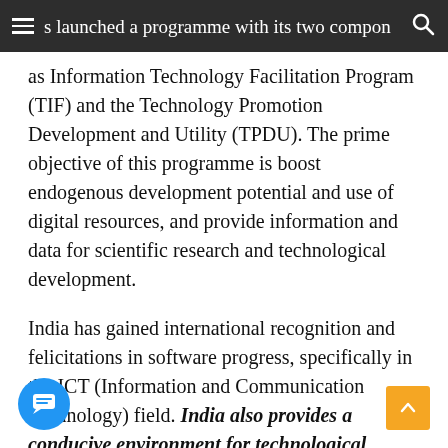s launched a programme with its two components
as Information Technology Facilitation Program (TIF) and the Technology Promotion Development and Utility (TPDU). The prime objective of this programme is boost endogenous development potential and use of digital resources, and provide information and data for scientific research and technological development.
India has gained international recognition and felicitations in software progress, specifically in the ICT (Information and Communication Technology) field. India also provides a conducive environment for technological development to meet national and international demands.